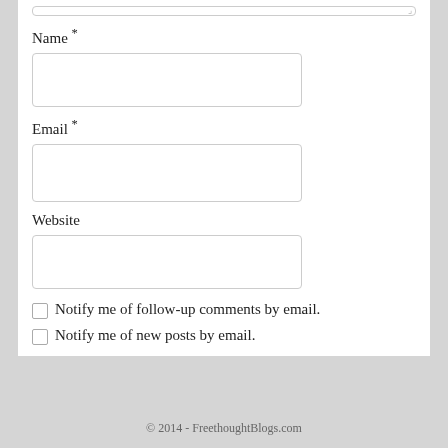Name *
Email *
Website
Notify me of follow-up comments by email.
Notify me of new posts by email.
Notify me of followup comments via e-mail. You can also subscribe without commenting.
Post Comment Preview
Click the "Preview" button to preview your comment here.
© 2014 - FreethoughtBlogs.com